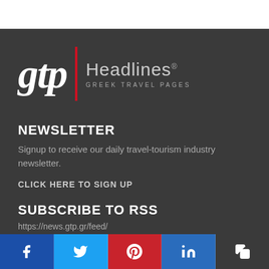[Figure (logo): GTP Headlines logo - Greek Travel Pages with red vertical bar divider]
NEWSLETTER
Signup to receive our daily travel-tourism industry newsletter.
CLICK HERE TO SIGN UP
SUBSCRIBE TO RSS
https://news.gtp.gr/feed/
[Figure (infographic): Social share bar with Facebook, Twitter, Pinterest, LinkedIn, and copy buttons]